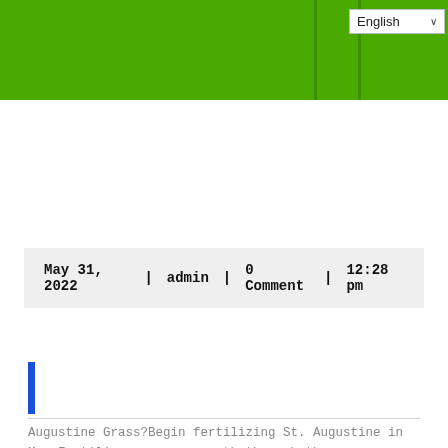English
May 31, 2022  |    admin  |     0 Comment  |     12:28 pm
Augustine Grass?Begin fertilizing St. Augustine in May.Fertilize once-per-month through the